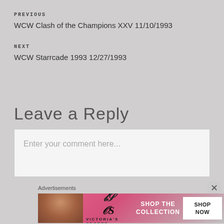PREvious
WCW Clash of the Champions XXV 11/10/1993
NEXT
WCW Starrcade 1993 12/27/1993
Leave a Reply
Enter your comment here...
Advertisements
[Figure (photo): Victoria's Secret advertisement banner with a model, VS logo, 'SHOP THE COLLECTION' text and a 'SHOP NOW' button]